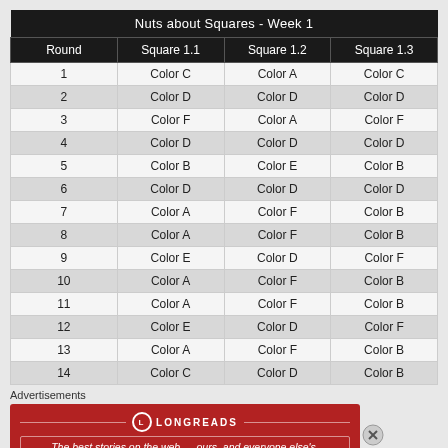| Round | Square 1.1 | Square 1.2 | Square 1.3 |
| --- | --- | --- | --- |
| 1 | Color C | Color A | Color C |
| 2 | Color D | Color D | Color D |
| 3 | Color F | Color A | Color F |
| 4 | Color D | Color D | Color D |
| 5 | Color B | Color E | Color B |
| 6 | Color D | Color D | Color D |
| 7 | Color A | Color F | Color B |
| 8 | Color A | Color F | Color B |
| 9 | Color E | Color D | Color F |
| 10 | Color A | Color F | Color B |
| 11 | Color A | Color F | Color B |
| 12 | Color E | Color D | Color F |
| 13 | Color A | Color F | Color B |
| 14 | Color C | Color D | Color B |
Advertisements
[Figure (other): Longreads advertisement banner: red background with logo and tagline 'The best stories on the web — ours, and everyone else's.']